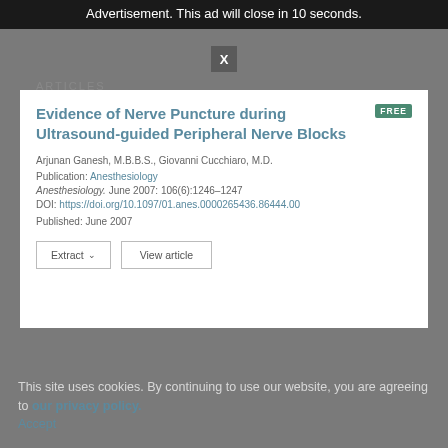Advertisement. This ad will close in 10 seconds.
Articles
Evidence of Nerve Puncture during Ultrasound-guided Peripheral Nerve Blocks
Arjunan Ganesh, M.B.B.S., Giovanni Cucchiaro, M.D.
Publication: Anesthesiology
Anesthesiology. June 2007: 106(6):1246–1247
DOI: https://doi.org/10.1097/01.anes.0000265436.86444.00
Published: June 2007
This site uses cookies. By continuing to use our website, you are agreeing to our privacy policy. Accept